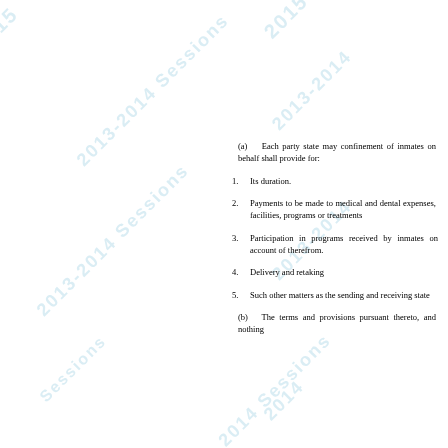(a)   Each party state may make confinement of inmates on behalf of a sending state shall provide for:
1.    Its duration.
2.    Payments to be made to medical and dental expenses, facilities, programs or treatment
3.    Participation in programs received by inmates on account of therefrom.
4.    Delivery and retaking
5.    Such other matters as the sending and receiving state
(b)   The terms and provisions pursuant thereto, and nothing